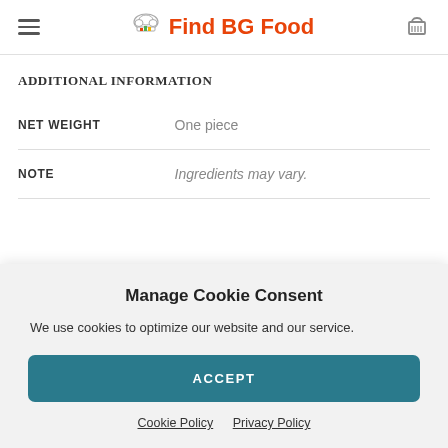Find BG Food
ADDITIONAL INFORMATION
|  |  |
| --- | --- |
| NET WEIGHT | One piece |
| NOTE | Ingredients may vary. |
Manage Cookie Consent
We use cookies to optimize our website and our service.
ACCEPT
Cookie Policy   Privacy Policy